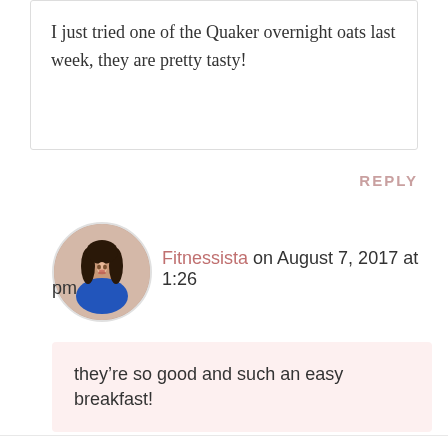I just tried one of the Quaker overnight oats last week, they are pretty tasty!
REPLY
[Figure (photo): Circular avatar photo of Fitnessista - a woman with dark hair wearing a blue top]
Fitnessista on August 7, 2017 at 1:26 pm
they’re so good and such an easy breakfast!
REPLY
[Figure (photo): Circular avatar photo of Megan @ Skinny Fitalicious - a woman with dark hair]
Megan @ Skinny Fitalicious on August 7,